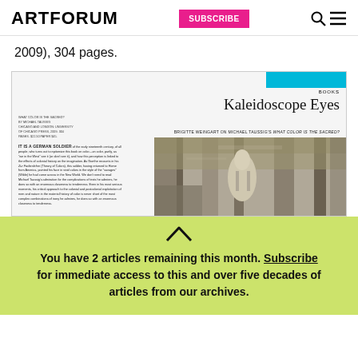ARTFORUM | SUBSCRIBE
2009), 304 pages.
[Figure (screenshot): Screenshot of an Artforum magazine article page titled 'Kaleidoscope Eyes' by Brigitte Weingart on Michael Taussig's What Color Is the Sacred?, with a blue BOOKS tab, article text in two columns, and a black-and-white photo of a person in a jungle.]
You have 2 articles remaining this month. Subscribe for immediate access to this and over five decades of articles from our archives.